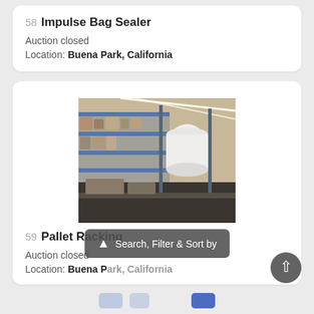58  Impulse Bag Sealer
Auction closed
Location: Buena Park, California
[Figure (photo): Warehouse interior showing metal pallet racking shelves with various items and a white cylindrical object, lit by fluorescent overhead lights.]
59  Pallet Racking
Auction closed
Location: Buena Park, California
Search, Filter & Sort by